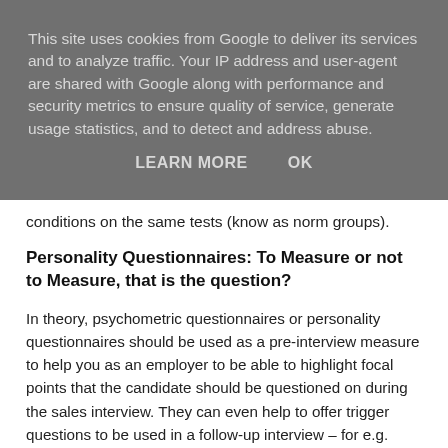This site uses cookies from Google to deliver its services and to analyze traffic. Your IP address and user-agent are shared with Google along with performance and security metrics to ensure quality of service, generate usage statistics, and to detect and address abuse.
LEARN MORE   OK
conditions on the same tests (know as norm groups).
Personality Questionnaires: To Measure or not to Measure, that is the question?
In theory, psychometric questionnaires or personality questionnaires should be used as a pre-interview measure to help you as an employer to be able to highlight focal points that the candidate should be questioned on during the sales interview. They can even help to offer trigger questions to be used in a follow-up interview – for e.g. someone may appear to be a good networker but their attention to detail might appear to be lacking. This then gives you, as the interviewer an area on which to focus your interview questions upon.